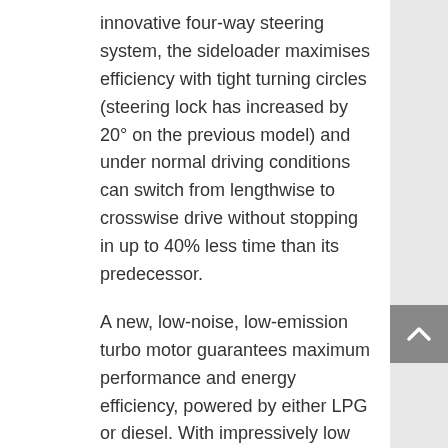innovative four-way steering system, the sideloader maximises efficiency with tight turning circles (steering lock has increased by 20° on the previous model) and under normal driving conditions can switch from lengthwise to crosswise drive without stopping in up to 40% less time than its predecessor.
A new, low-noise, low-emission turbo motor guarantees maximum performance and energy efficiency, powered by either LPG or diesel. With impressively low energy consumption and emissions cut up to 30% on the previous model, it provides a high-performance result thanks to an intelligent vehicle control system.
Three different driving modes – Eco, Sensitive and Speed – can be selected depending on the job requirements. Low energy consumption minimises exhaust emissions and fuel consumption is reduced to